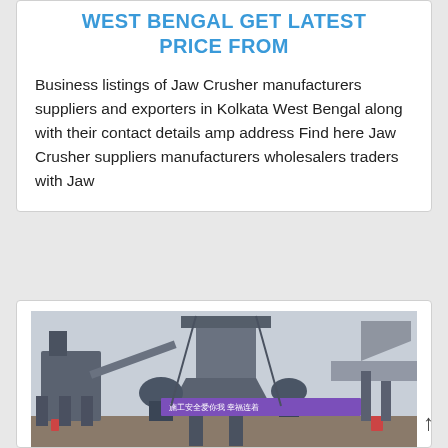WEST BENGAL GET LATEST PRICE FROM
Business listings of Jaw Crusher manufacturers suppliers and exporters in Kolkata West Bengal along with their contact details amp address Find here Jaw Crusher suppliers manufacturers wholesalers traders with Jaw
[Figure (photo): Photograph of a large industrial jaw crusher / cone crusher facility under construction or in operation, with Chinese language banner text visible: 施工安全爱你我 幸福连着大]